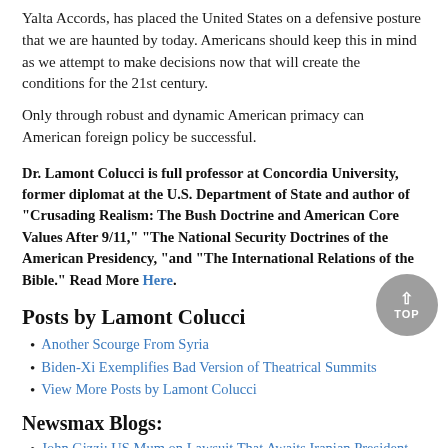Yalta Accords, has placed the United States on a defensive posture that we are haunted by today. Americans should keep this in mind as we attempt to make decisions now that will create the conditions for the 21st century.
Only through robust and dynamic American primacy can American foreign policy be successful.
Dr. Lamont Colucci is full professor at Concordia University, former diplomat at the U.S. Department of State and author of "Crusading Realism: The Bush Doctrine and American Core Values After 9/11," "The National Security Doctrines of the American Presidency, "and "The International Relations of the Bible." Read More Here.
Posts by Lamont Colucci
Another Scourge From Syria
Biden-Xi Exemplifies Bad Version of Theatrical Summits
View More Posts by Lamont Colucci
Newsmax Blogs:
John Gizzi: US Mum on Lawsuit That Awaits Iranian President